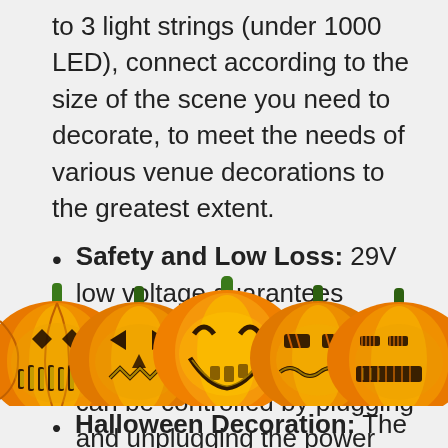to 3 light strings (under 1000 LED), connect according to the size of the scene you need to decorate, to meet the needs of various venue decorations to the greatest extent.
Safety and Low Loss: 29V low voltage guarantees safety, the net lights has IP44 waterproof grade, the switch can be controlled by plugging and unplugging the power supply, and the energy-saving
[Figure (illustration): A row of five jack-o'-lantern pumpkins with carved faces, overlapping each other, partially obscuring the text below. Orange pumpkins with green stems and glowing yellow carved faces.]
Halloween Decoration: The